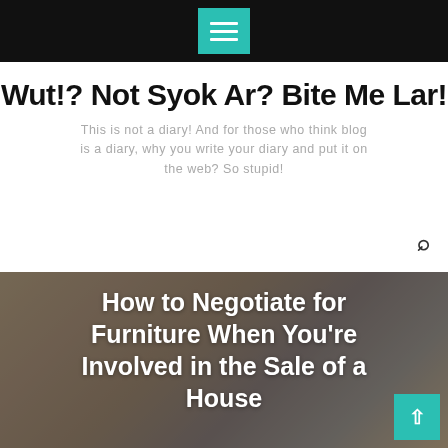Navigation bar with menu icon
Wut!? Not Syok Ar? Bite Me Lar!
This is not a diary! And for those who think blog is a diary, why you write your diary and put it on the web? So stupid!
[Figure (photo): A cat or animal photo used as a hero banner background image, blurred/overlaid with dark tint]
How to Negotiate for Furniture When You’re Involved in the Sale of a House